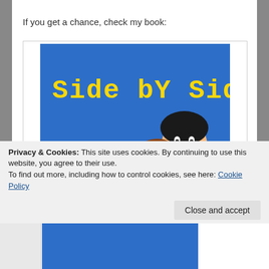If you get a chance, check my book:
[Figure (illustration): Book cover for 'Side by Side: The First ...' showing yellow pixel-style text on a blue background with cartoon illustrations of two people (adult and child)]
Privacy & Cookies: This site uses cookies. By continuing to use this website, you agree to their use.
To find out more, including how to control cookies, see here: Cookie Policy
Close and accept